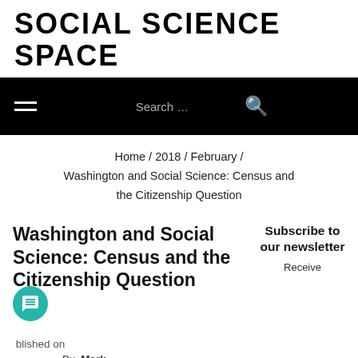SOCIAL SCIENCE SPACE
Search …
Home / 2018 / February / Washington and Social Science: Census and the Citizenship Question
Washington and Social Science: Census and the Citizenship Question
Subscribe to our newsletter
Published on
By  Mark
02/05/2018
Vieth
Receive